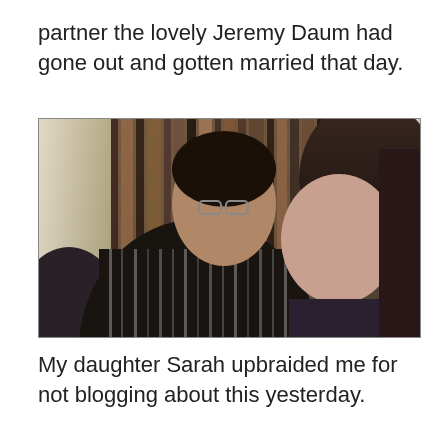partner the lovely Jeremy Daum had gone out and gotten married that day.
[Figure (photo): A man with glasses and dark hair wearing a striped shirt sits next to a woman with brown hair in a room with bookshelves, a curtain, and natural light from a window.]
My daughter Sarah upbraided me for not blogging about this yesterday.